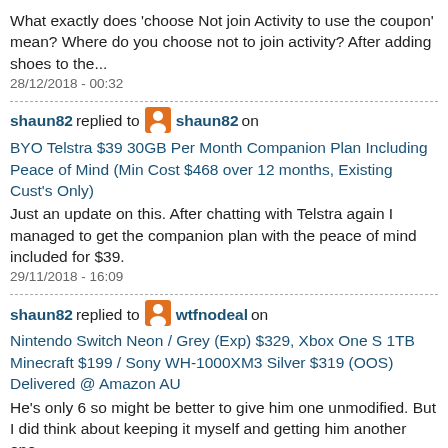What exactly does 'choose Not join Activity to use the coupon' mean? Where do you choose not to join activity? After adding shoes to the...
28/12/2018 - 00:32
shaun82 replied to shaun82 on BYO Telstra $39 30GB Per Month Companion Plan Including Peace of Mind (Min Cost $468 over 12 months, Existing Cust's Only)
Just an update on this. After chatting with Telstra again I managed to get the companion plan with the peace of mind included for $39.
29/11/2018 - 16:09
shaun82 replied to wtfnodeal on Nintendo Switch Neon / Grey (Exp) $329, Xbox One S 1TB Minecraft $199 / Sony WH-1000XM3 Silver $319 (OOS) Delivered @ Amazon AU
He's only 6 so might be better to give him one unmodified. But I did think about keeping it myself and getting him another one.
29/11/2018 - 09:51
shaun82 replied to quarrymaster on BYO Telstra $39 30GB Per Month Companion Plan Including Peace of Mind (Min Cost $468 over 12 months, Existing Cust's Only)